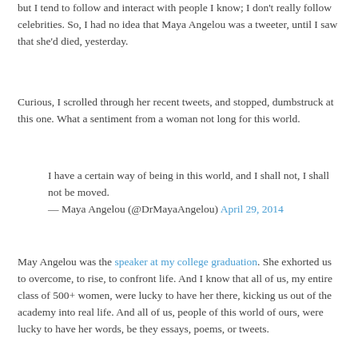but I tend to follow and interact with people I know; I don't really follow celebrities. So, I had no idea that Maya Angelou was a tweeter, until I saw that she'd died, yesterday.
Curious, I scrolled through her recent tweets, and stopped, dumbstruck at this one. What a sentiment from a woman not long for this world.
I have a certain way of being in this world, and I shall not, I shall not be moved.
— Maya Angelou (@DrMayaAngelou) April 29, 2014
May Angelou was the speaker at my college graduation. She exhorted us to overcome, to rise, to confront life. And I know that all of us, my entire class of 500+ women, were lucky to have her there, kicking us out of the academy into real life. And all of us, people of this world of ours, were lucky to have her words, be they essays, poems, or tweets.